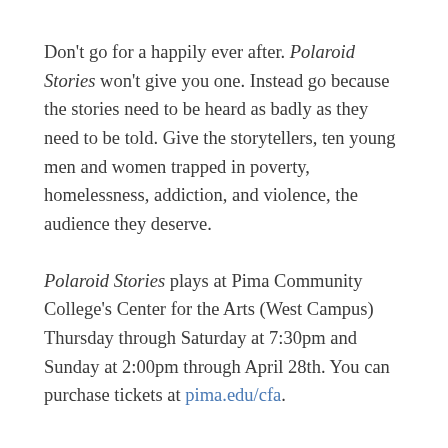Don't go for a happily ever after. Polaroid Stories won't give you one. Instead go because the stories need to be heard as badly as they need to be told. Give the storytellers, ten young men and women trapped in poverty, homelessness, addiction, and violence, the audience they deserve.
Polaroid Stories plays at Pima Community College's Center for the Arts (West Campus) Thursday through Saturday at 7:30pm and Sunday at 2:00pm through April 28th. You can purchase tickets at pima.edu/cfa.